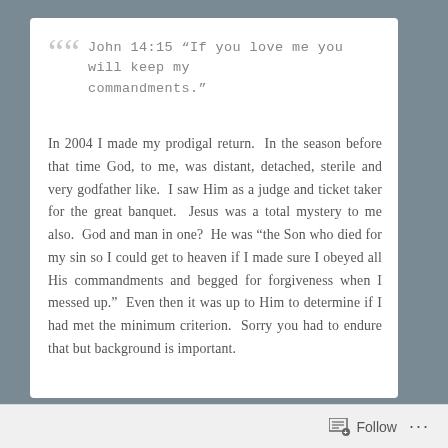John 14:15 “If you love me you will keep my commandments.”
In 2004 I made my prodigal return.  In the season before that time God, to me, was distant, detached, sterile and very godfather like.  I saw Him as a judge and ticket taker for the great banquet.  Jesus was a total mystery to me also.  God and man in one?  He was “the Son who died for my sin so I could get to heaven if I made sure I obeyed all His commandments and begged for forgiveness when I messed up.”  Even then it was up to Him to determine if I had met the minimum criterion.  Sorry you had to endure that but background is important.
Follow ...